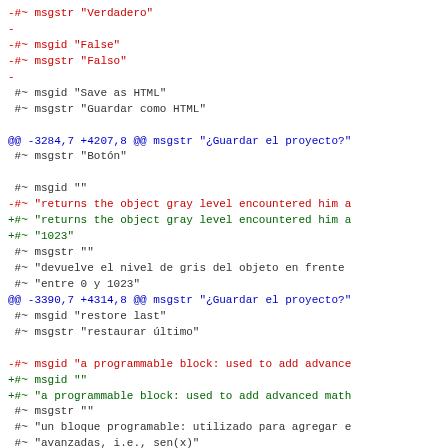diff code block showing PO file changes with red/blue/green/dark colored lines